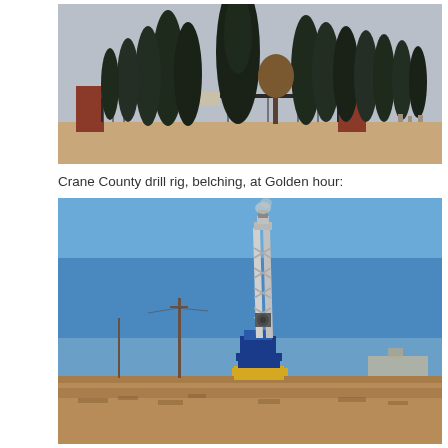[Figure (photo): Entrance to Restland cemetery with tall dark cypress trees against an overcast grey sky, brick pillars and iron gate with sign reading RESTLAND, brown ground in foreground.]
Crane County drill rig, belching, at Golden hour:
[Figure (photo): Crane County oil drill rig with tall white and blue metal derrick against a clear blue sky, yellow and blue equipment at base, flat dry brown scrubland in foreground, utility poles to the left, golden hour lighting.]